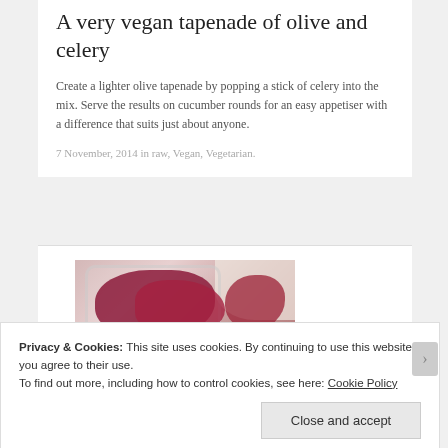A very vegan tapenade of olive and celery
Create a lighter olive tapenade by popping a stick of celery into the mix. Serve the results on cucumber rounds for an easy appetiser with a difference that suits just about anyone.
7 November, 2014 in raw, Vegan, Vegetarian.
[Figure (photo): Photo of a glass bowl filled with dark red/purple chopped beetroot or olive tapenade mixture, with more of the mixture scattered around it on a light background.]
Privacy & Cookies: This site uses cookies. By continuing to use this website, you agree to their use.
To find out more, including how to control cookies, see here: Cookie Policy
Close and accept